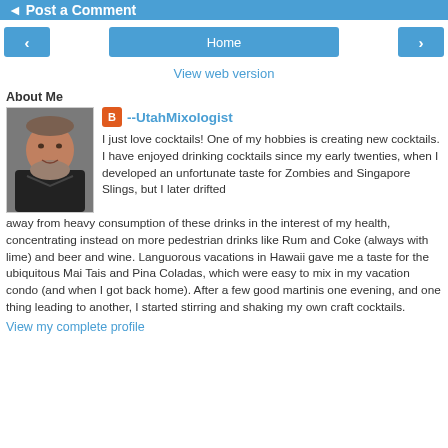◄ Post a Comment
Home
View web version
About Me
[Figure (photo): Profile photo of a middle-aged man with a beard, smiling, wearing a dark jacket.]
--UtahMixologist
I just love cocktails! One of my hobbies is creating new cocktails. I have enjoyed drinking cocktails since my early twenties, when I developed an unfortunate taste for Zombies and Singapore Slings, but I later drifted away from heavy consumption of these drinks in the interest of my health, concentrating instead on more pedestrian drinks like Rum and Coke (always with lime) and beer and wine. Languorous vacations in Hawaii gave me a taste for the ubiquitous Mai Tais and Pina Coladas, which were easy to mix in my vacation condo (and when I got back home). After a few good martinis one evening, and one thing leading to another, I started stirring and shaking my own craft cocktails.
View my complete profile